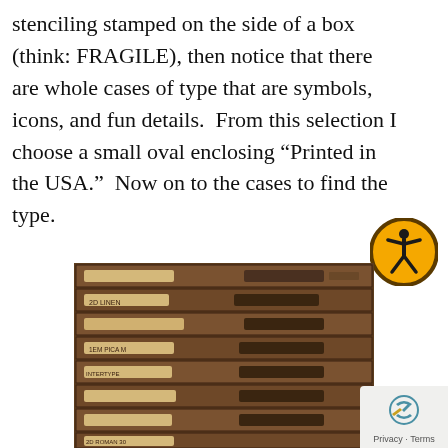stenciling stamped on the side of a box (think: FRAGILE), then notice that there are whole cases of type that are symbols, icons, and fun details.  From this selection I choose a small oval enclosing “Printed in the USA.”  Now on to the cases to find the type.
[Figure (illustration): Orange circular accessibility icon showing a person figure, with dark brown/black border ring on orange background.]
[Figure (photo): Photograph of a wooden type cabinet with multiple flat drawers, each labeled with small paper tags. The drawers have metal pull handles.]